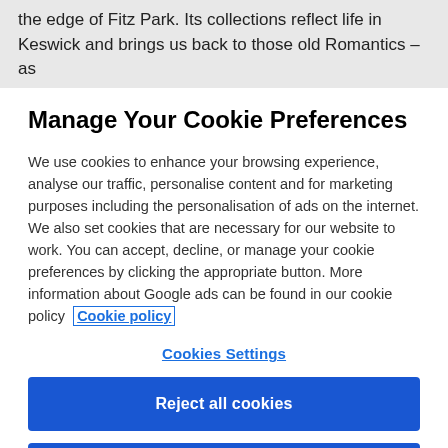the edge of Fitz Park. Its collections reflect life in Keswick and brings us back to those old Romantics – as
Manage Your Cookie Preferences
We use cookies to enhance your browsing experience, analyse our traffic, personalise content and for marketing purposes including the personalisation of ads on the internet. We also set cookies that are necessary for our website to work. You can accept, decline, or manage your cookie preferences by clicking the appropriate button. More information about Google ads can be found in our cookie policy  Cookie policy
Cookies Settings
Reject all cookies
Accept all cookies